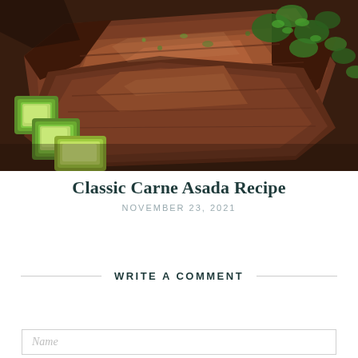[Figure (photo): Close-up photo of sliced carne asada steak with avocado chunks and fresh cilantro garnish on a dark surface]
Classic Carne Asada Recipe
NOVEMBER 23, 2021
WRITE A COMMENT
Name